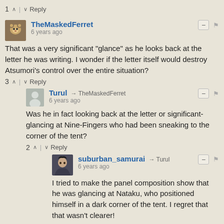1 ^ | v Reply
TheMaskedFerret
6 years ago
That was a very significant "glance" as he looks back at the letter he was writing. I wonder if the letter itself would destroy Atsumori's control over the entire situation?
3 ^ | v Reply
Turul → TheMaskedFerret
6 years ago
Was he in fact looking back at the letter or significant-glancing at Nine-Fingers who had been sneaking to the corner of the tent?
2 ^ | v Reply
suburban_samurai → Turul
6 years ago
I tried to make the panel composition show that he was glancing at Nataku, who positioned himself in a dark corner of the tent. I regret that that wasn't clearer!